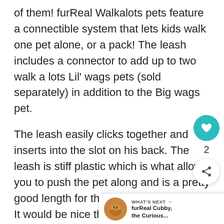of them! furReal Walkalots pets feature a connectible system that lets kids walk one pet alone, or a pack! The leash includes a connector to add up to two walk a lots Lil' wags pets (sold separately) in addition to the Big wags pet.
The leash easily clicks together and inserts into the slot on his back. The leash is stiff plastic which is what allows you to push the pet along and is a pretty good length for the 5 and below crowd. It would be nice though if there was an ability to adjust the length of the leash as my 7 year old has to bend over to push the pup along and that makes for uncomfortable play.
[Figure (other): UI overlay with heart/like button (teal circle), count of 2, share button, and a 'What's Next' card thumbnail showing furReal Cubby, the Curious...]